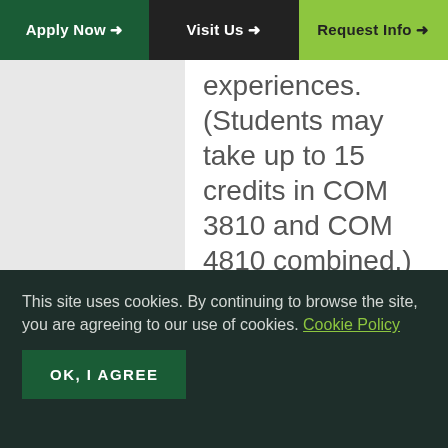Apply Now → | Visit Us → | Request Info →
experiences. (Students may take up to 15 credits in COM 3810 and COM 4810 combined.) Signed contract required at time
This site uses cookies. By continuing to browse the site, you are agreeing to our use of cookies. Cookie Policy
OK, I AGREE